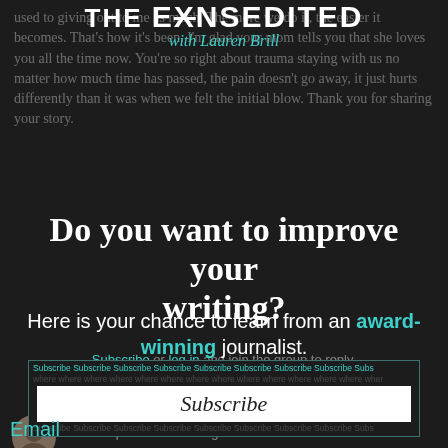The Unsedited with Lauren Brill
used to giving out to me as much. The more we do it, the easier it becomes. That's how it's been. I'm glad your mom tells you that she loves you all the time now. You're so right about trauma staying with us no matter how much time has passed, the pain doesn't go away, it just hurts differently than it was when we felt the initial blow. Thank you for sharing your story.
Do you want to improve your writing?
Here is your chance to learn from an award-winning journalist.
Subscribe or log in and join the group to reply.
Add your email for updates on our free writing workshops and more.
Email
[Figure (screenshot): Subscribe button/banner with repeating 'Subscribe' text above and below a central Subscribe button in a dark overlay box.]
Telina replied 2 months ago
@lostone89
I am glad... I can't believe it to my core... ourselves. I learned that later in life, and I now see what other people have told me from...
[Figure (photo): Small circular avatar of a woman with dark hair at the bottom left of the page.]